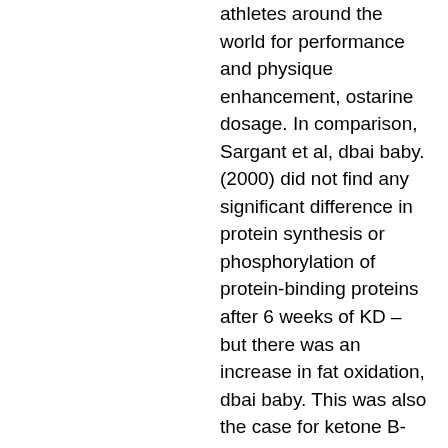athletes around the world for performance and physique enhancement, ostarine dosage. In comparison, Sargant et al, dbai baby. (2000) did not find any significant difference in protein synthesis or phosphorylation of protein-binding proteins after 6 weeks of KD – but there was an increase in fat oxidation, dbai baby. This was also the case for ketone B-hydrates: the effect of the diet was similar if not more. Sargant and co-workers (Sargant and Shih, 1999) noted that higher concentrations of free fatty acids were associated with better markers for muscle protein turnover, supplement stack to build muscle mass. They also noted that fasting levels of ketone B-hydrates were an indication of enhanced protein synthesis.
L-Theanine (L-Theanine) According to the information on this webpage, L-Theanine